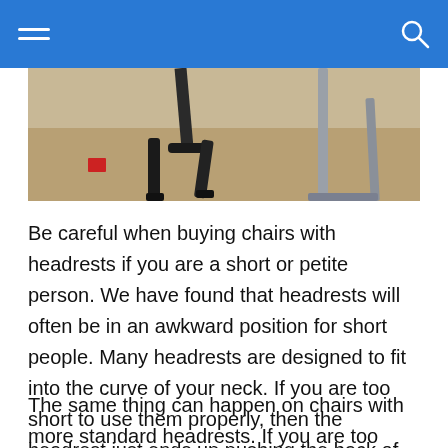[Figure (photo): Photo of chair legs and table legs on a beige carpet, with a small red sticker visible on the floor]
Be careful when buying chairs with headrests if you are a short or petite person. We have found that headrests will often be in an awkward position for short people. Many headrests are designed to fit into the curve of your neck. If you are too short to use them properly, then the headrest just ends up pushing the back of your head forward.
The same thing can happen on chairs with more standard headrests. If you are too short to reach